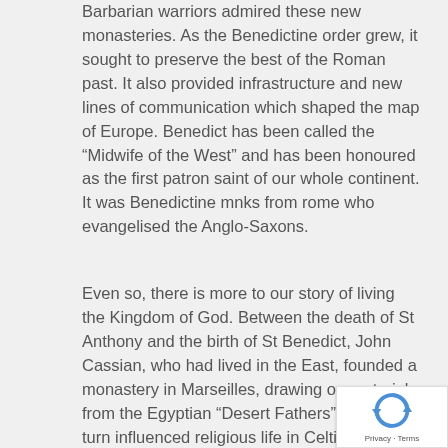Barbarian warriors admired these new monasteries. As the Benedictine order grew, it sought to preserve the best of the Roman past. It also provided infrastructure and new lines of communication which shaped the map of Europe. Benedict has been called the “Midwife of the West” and has been honoured as the first patron saint of our whole continent. It was Benedictine mnks from rome who evangelised the Anglo-Saxons.
Even so, there is more to our story of living the Kingdom of God. Between the death of St Anthony and the birth of St Benedict, John Cassian, who had lived in the East, founded a monastery in Marseilles, drawing on material from the Egyptian “Desert Fathers”. This in turn influenced religious life in Celtic Britain and Ireland. Our former diocesan theologian John Barrett Davi… describes how it would have affected a community… Wales: